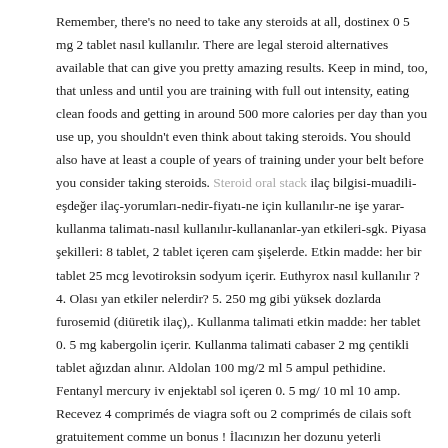Remember, there's no need to take any steroids at all, dostinex 0 5 mg 2 tablet nasıl kullanılır. There are legal steroid alternatives available that can give you pretty amazing results. Keep in mind, too, that unless and until you are training with full out intensity, eating clean foods and getting in around 500 more calories per day than you use up, you shouldn't even think about taking steroids. You should also have at least a couple of years of training under your belt before you consider taking steroids. Steroid oral stack ilaç bilgisi-muadili-eşdeğer ilaç-yorumları-nedir-fiyatı-ne için kullanılır-ne işe yarar-kullanma talimatı-nasıl kullanılır-kullananlar-yan etkileri-sgk. Piyasa şekilleri: 8 tablet, 2 tablet içeren cam şişelerde. Etkin madde: her bir tablet 25 mcg levotiroksin sodyum içerir. Euthyrox nasıl kullanılır ? 4. Olası yan etkiler nelerdir? 5. 250 mg gibi yüksek dozlarda furosemid (diüretik ilaç),. Kullanma talimati etkin madde: her tablet 0. 5 mg kabergolin içerir. Kullanma talimati cabaser 2 mg çentikli tablet ağızdan alınır. Aldolan 100 mg/2 ml 5 ampul pethidine. Fentanyl mercury iv enjektabl sol içeren 0. 5 mg/ 10 ml 10 amp. Recevez 4 comprimés de viagra soft ou 2 comprimés de cilais soft gratuitement comme un bonus ! İlacınızın her dozunu yeterli miktarda su ile beraber tok karına alınız. Günde 0,5-3 mg · dostinex´i size verilen. Kabergolin